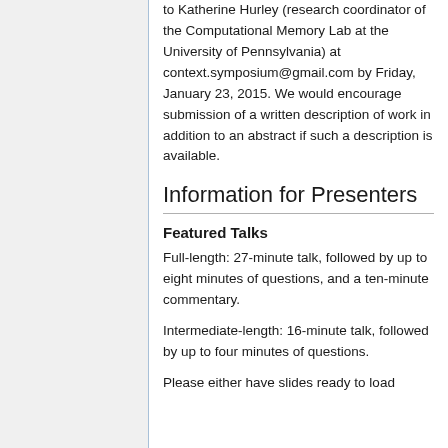to Katherine Hurley (research coordinator of the Computational Memory Lab at the University of Pennsylvania) at context.symposium@gmail.com by Friday, January 23, 2015. We would encourage submission of a written description of work in addition to an abstract if such a description is available.
Information for Presenters
Featured Talks
Full-length: 27-minute talk, followed by up to eight minutes of questions, and a ten-minute commentary.
Intermediate-length: 16-minute talk, followed by up to four minutes of questions.
Please either have slides ready to load